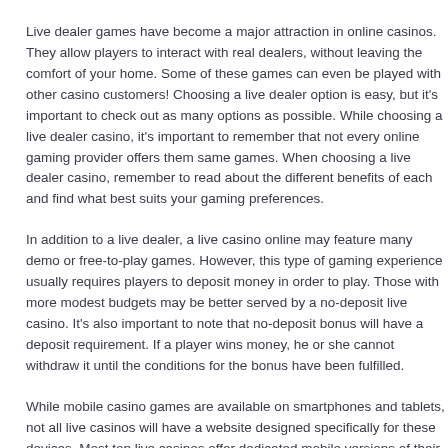Live dealer games have become a major attraction in online casinos. They allow players to interact with real dealers, without leaving the comfort of your home. Some of these games can even be played with other casino customers! Choosing a live dealer option is easy, but it's important to check out as many options as possible. While choosing a live dealer casino, it's important to remember that not every online gaming provider offers the same games. When choosing a live dealer casino, remember to read about the different benefits of each and find what best suits your gaming preferences.
In addition to a live dealer, a live casino online may feature many demo or free-to-play games. However, this type of gaming experience usually requires players to deposit money in order to play. Those with more modest budgets may be better served by a no-deposit live casino. It's also important to note that no-deposit bonus will have a deposit requirement. If a player wins money, he or she cannot withdraw it until the conditions for the bonus have been fulfilled.
While mobile casino games are available on smartphones and tablets, not all live casinos will have a website designed specifically for these devices. Most top live casinos offer dedicated mobile versions of their websites, but it's a good idea to check out each one individually to determine if it is optimized for mobile use. The same goes for live dealer games, which may have reduced graphics quality for smaller screens. This will make the experience less realistic.